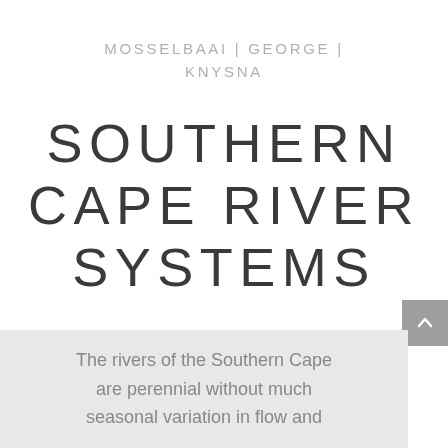MOSSELBAAI | GEORGE | KNYSNA
SOUTHERN CAPE RIVER SYSTEMS
The rivers of the Southern Cape are perennial without much seasonal variation in flow and